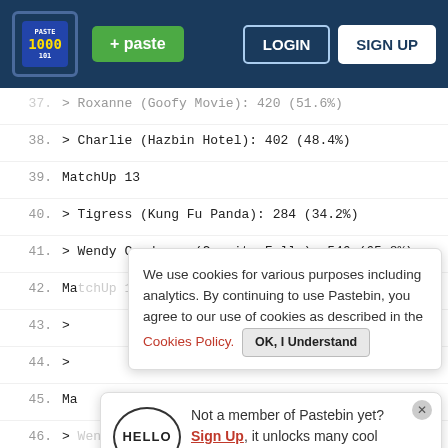Pastebin navigation bar with logo, paste button, LOGIN and SIGN UP buttons
> Roxanne (Goofy Movie): 420 (51.6%)
38. > Charlie (Hazbin Hotel): 402 (48.4%)
39. MatchUp 13
40. > Tigress (Kung Fu Panda): 284 (34.2%)
41. > Wendy Corduroy (Gravity Falls): 546 (65.8%)
42. MatchUp 14
43. >
44. >
45. Ma
46. > Wendys (Wendys): 267 (32.2%)
47. >
48. Ma
49. >
50. > DeeDee (Dexter's Laboratory): 252 (30.4%)
51. MatchUp 17
52. > Burnbot (Brain Dump): 272 (32.8%)
53. > Ty Lee (Avatar The Last Airbender): 558 (67.2%)
Cookie banner: We use cookies for various purposes including analytics. By continuing to use Pastebin, you agree to our use of cookies as described in the Cookies Policy. OK, I Understand
Sign up popup: Not a member of Pastebin yet? Sign Up, it unlocks many cool features!